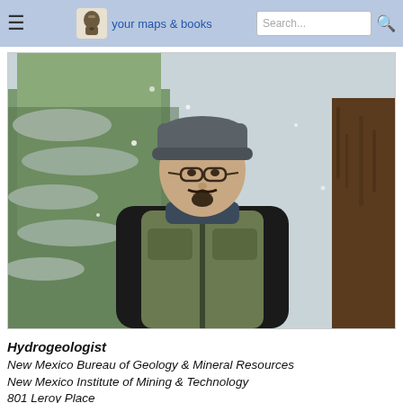≡  your maps & books  Search...
[Figure (photo): Man wearing glasses and a grey beanie hat, with a goatee beard, dressed in a black jacket and olive/grey vest, standing outdoors in a snow-covered forest setting.]
Hydrogeologist
New Mexico Bureau of Geology & Mineral Resources
New Mexico Institute of Mining & Technology
801 Leroy Place
Socorro NM 87801-4796
575-835-6668